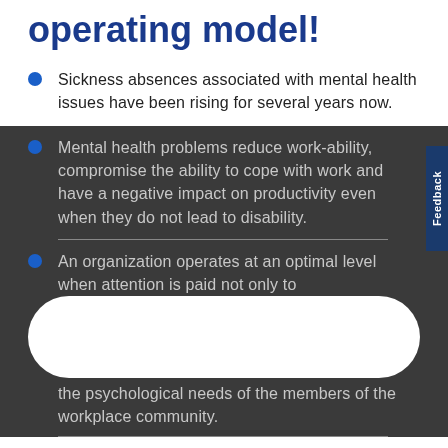operating model!
Sickness absences associated with mental health issues have been rising for several years now.
Mental health problems reduce work-ability, compromise the ability to cope with work and have a negative impact on productivity even when they do not lead to disability.
An organization operates at an optimal level when attention is paid not only to [obscured] the psychological needs of the members of the workplace community.